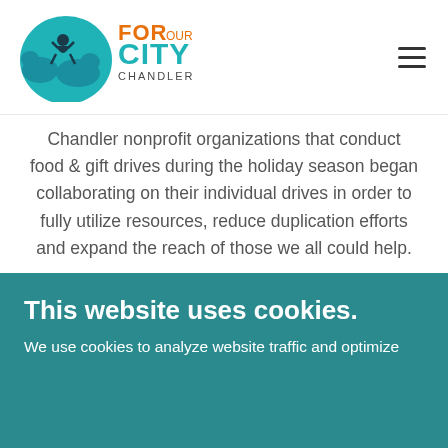[Figure (logo): For Our City Chandler logo — teal circular icon with a person and buffalo silhouette, and orange and teal text reading FOR OUR CITY CHANDLER]
Chandler nonprofit organizations that conduct food & gift drives during the holiday season began collaborating on their individual drives in order to fully utilize resources, reduce duplication efforts and expand the reach of those we all could help.
This website uses cookies.
We use cookies to analyze website traffic and optimize